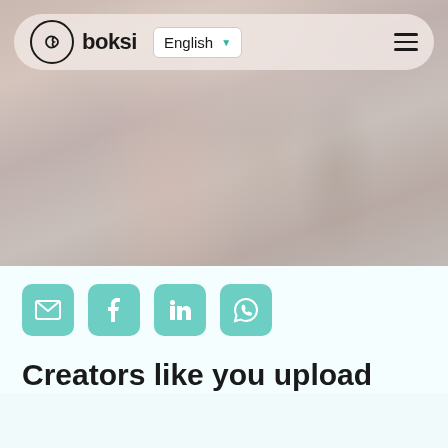[Figure (screenshot): Boksi website screenshot showing a navigation bar with logo, English language selector, and hamburger menu over a blurred background photo of a person]
[Figure (infographic): Row of four teal social sharing buttons: email, Facebook, LinkedIn, WhatsApp]
Creators like you upload